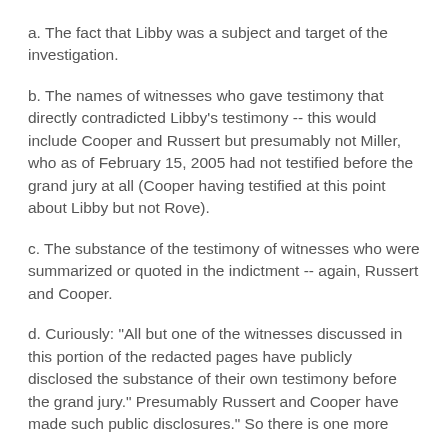a. The fact that Libby was a subject and target of the investigation.
b. The names of witnesses who gave testimony that directly contradicted Libby's testimony -- this would include Cooper and Russert but presumably not Miller, who as of February 15, 2005 had not testified before the grand jury at all (Cooper having testified at this point about Libby but not Rove).
c. The substance of the testimony of witnesses who were summarized or quoted in the indictment -- again, Russert and Cooper.
d. Curiously: "All but one of the witnesses discussed in this portion of the redacted pages have publicly disclosed the substance of their own testimony before the grand jury." Presumably Russert and Cooper have made such public disclosures." So there is one more